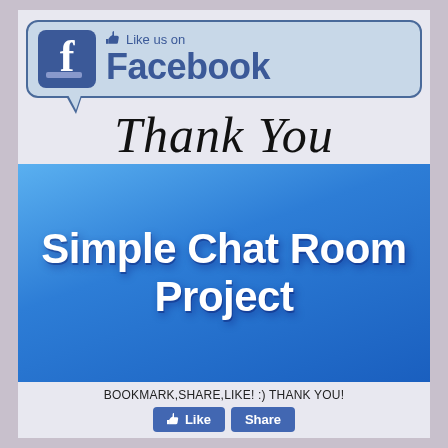[Figure (illustration): Facebook 'Like us on Facebook' speech bubble banner with Facebook logo icon on the left and thumbs up icon with text 'Like us on Facebook' on the right]
Thank You
Simple Chat Room Project
BOOKMARK,SHARE,LIKE! :) THANK YOU!
[Figure (illustration): Facebook Like and Share buttons]